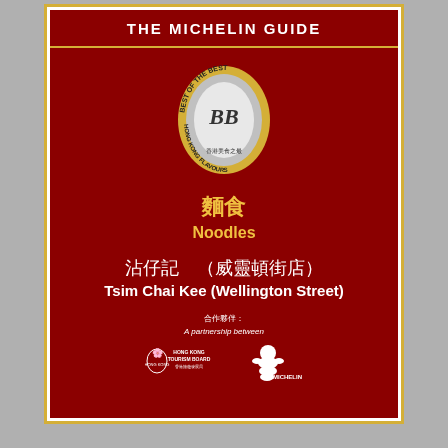[Figure (photo): Michelin Guide certificate plaque mounted behind glass with gold frame. Red background with 'Best of the Best Hong Kong Flavours' gold and silver medal. Category: 麵食 Noodles. Restaurant: 沾仔記（威靈頓街店）Tsim Chai Kee (Wellington Street). Partnership logos: Hong Kong Tourism Board and Michelin.]
THE MICHELIN GUIDE
BEST OF THE BEST
HONG KONG FLAVOURS
麵食
Noodles
沾仔記　（威靈頓街店）
Tsim Chai Kee (Wellington Street)
合作夥伴：
A partnership between